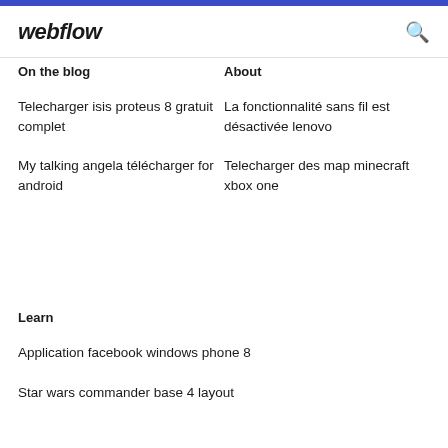webflow
On the blog
About
Telecharger isis proteus 8 gratuit complet
La fonctionnalité sans fil est désactivée lenovo
My talking angela télécharger for android
Telecharger des map minecraft xbox one
Learn
Application facebook windows phone 8
Star wars commander base 4 layout